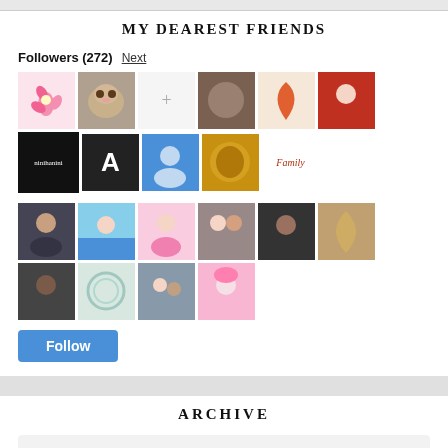MY DEAREST FRIENDS
Followers (272) Next
[Figure (photo): Grid of follower avatar thumbnails, two rows of approximately 10-11 avatars each]
Follow
ARCHIVE
2021 (1)
2020 (2)
2019 (11)
2018 (24)